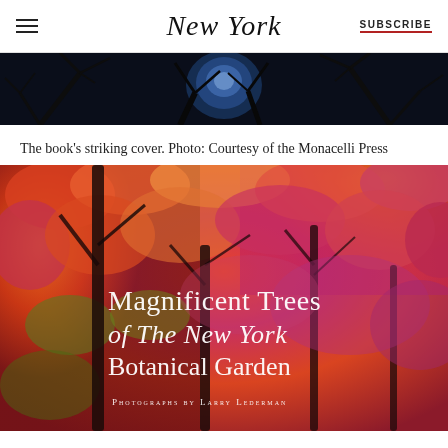NEW YORK | SUBSCRIBE
[Figure (photo): Dark silhouette of bare tree branches against a blue moonlit sky, wide panoramic crop]
The book's striking cover. Photo: Courtesy of the Monacelli Press
[Figure (photo): Book cover of 'Magnificent Trees of The New York Botanical Garden, Photographs by Larry Lederman' — vibrant red and orange autumn foliage filling the frame with dark tree trunks]